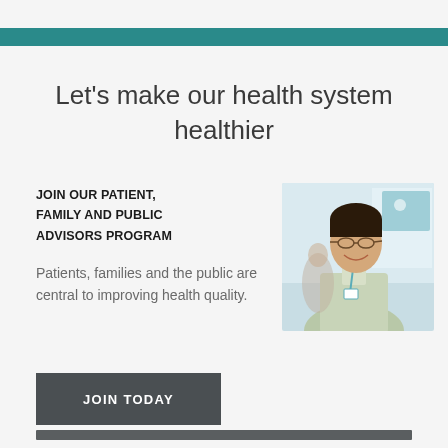Let’s make our health system healthier
JOIN OUR PATIENT, FAMILY AND PUBLIC ADVISORS PROGRAM
Patients, families and the public are central to improving health quality.
[Figure (photo): Smiling Asian man wearing glasses and a plaid shirt with a lanyard, in a bright indoor setting]
JOIN TODAY